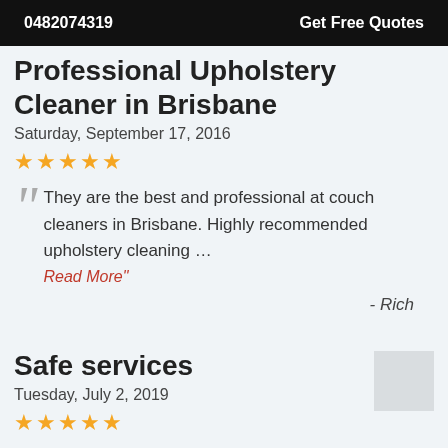0482074319    Get Free Quotes
Professional Upholstery Cleaner in Brisbane
Saturday, September 17, 2016
★★★★★
They are the best and professional at couch cleaners in Brisbane. Highly recommended upholstery cleaning ... Read More"
- Rich
Safe services
Tuesday, July 2, 2019
★★★★★